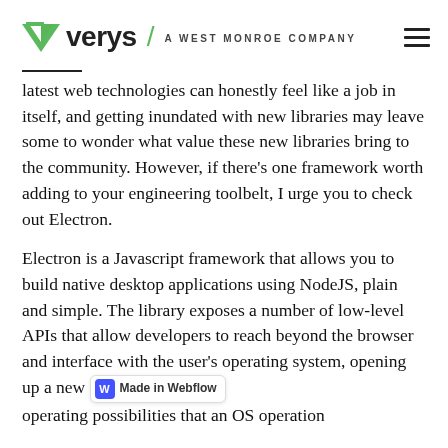verys / A WEST MONROE COMPANY
latest web technologies can honestly feel like a job in itself, and getting inundated with new libraries may leave some to wonder what value these new libraries bring to the community. However, if there's one framework worth adding to your engineering toolbelt, I urge you to check out Electron.
Electron is a Javascript framework that allows you to build native desktop applications using NodeJS, plain and simple. The library exposes a number of low-level APIs that allow developers to reach beyond the browser and interface with the user's operating system, opening up a new Made in Webflow operating possibilities that an OS operation